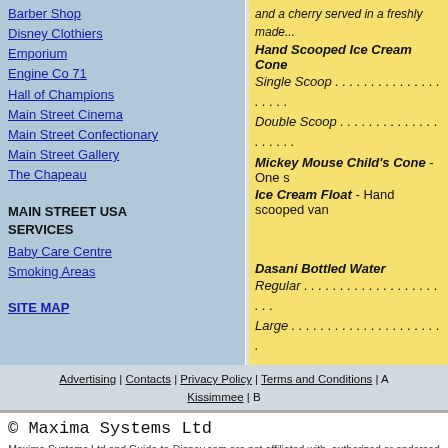Barber Shop
Disney Clothiers
Emporium
Engine Co 71
Hall of Champions
Main Street Cinema
Main Street Confectionary
Main Street Gallery
The Chapeau
MAIN STREET USA SERVICES
Baby Care Centre
Smoking Areas
SITE MAP
Hand Scooped Ice Cream Cone
Single Scoop . . . . . . . . . . . . . . . . . . . .
Double Scoop . . . . . . . . . . . . . . . . . . . .
Mickey Mouse Child's Cone - One s
Ice Cream Float - Hand scooped van
Dasani Bottled Water
Regular . . . . . . . . . . . . . . . . . . . . . .
Large . . . . . . . . . . . . . . . . . . . . . .
Bookmark with:
Delicious   Digg
Advertising | Contacts | Privacy Policy | Terms and Conditions | A
Kissimmee | B
Other Guides by Ma
© Maxima Systems Ltd
Maxima Systems Ltd and Guide-to-Disney.com are not affiliated with, authorized or endorsed by, or in a
and the information contained therein represents the opinion of the webmaster. Wal